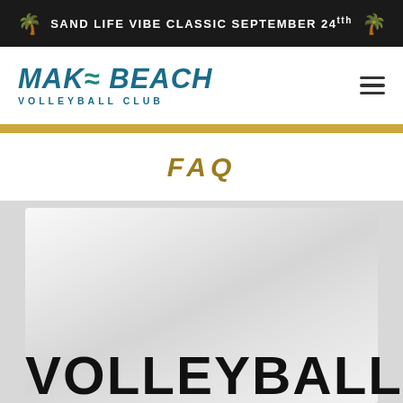SAND LIFE VIBE CLASSIC SEPTEMBER 24tth
[Figure (logo): MAKO BEACH VOLLEYBALL CLUB logo in teal/blue italic bold text]
FAQ
[Figure (photo): Volleyball poster with large bold black text reading VOLLEYBALL on a white/grey draped fabric background]